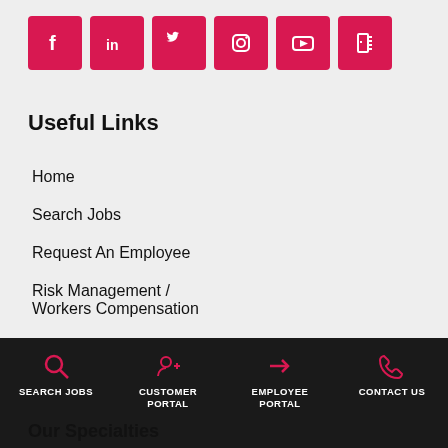[Figure (other): Row of 6 social media icons (Facebook, LinkedIn, Twitter, Instagram, YouTube, and another platform) in pink/crimson square buttons]
Useful Links
Home
Search Jobs
Request An Employee
Risk Management / Workers Compensation
About Us
Contact Us
SEARCH JOBS | CUSTOMER PORTAL | EMPLOYEE PORTAL | CONTACT US
Our Specialties